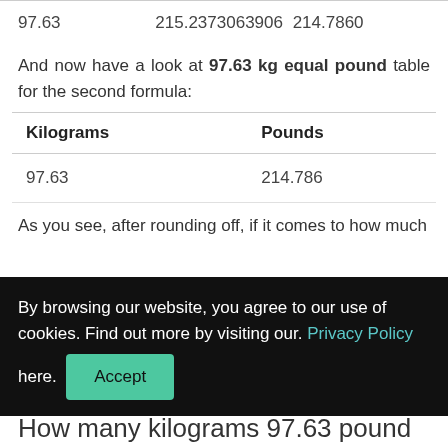| 97.63 | 215.2373063906 | 214.7860 |
And now have a look at 97.63 kg equal pound table for the second formula:
| Kilograms | Pounds |
| --- | --- |
| 97.63 | 214.786 |
As you see, after rounding off, if it comes to how much
By browsing our website, you agree to our use of cookies. Find out more by visiting our. Privacy Policy here. Accept
How many kilograms 97.63 pound